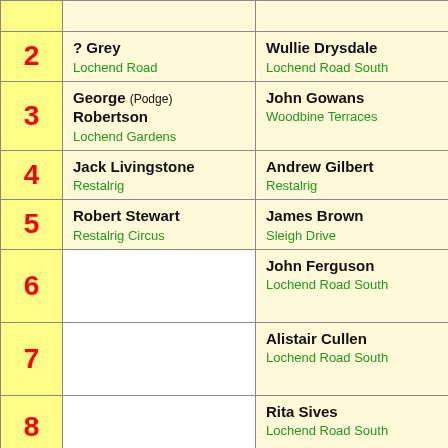| # | Left | Right |
| --- | --- | --- |
| 2 | ? Grey
Lochend Road | Wullie Drysdale
Lochend Road South |
| 3 | George (Podge) Robertson
Lochend Gardens | John Gowans
Woodbine Terraces |
| 4 | Jack Livingstone
Restalrig | Andrew Gilbert
Restalrig |
| 5 | Robert Stewart
Restalrig Circus | James Brown
Sleigh Drive |
| 6 |  | John Ferguson
Lochend Road South |
| 7 |  | Alistair Cullen
Lochend Road South |
| 8 |  | Rita Sives
Lochend Road South |